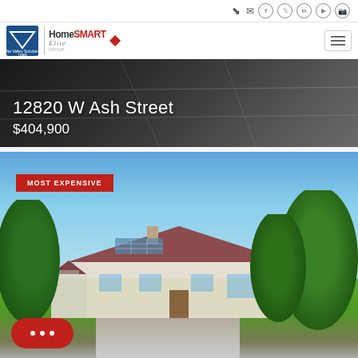Navigation bar with social/login icons
[Figure (logo): The Valley Solutions Team and HomeSmart Elite Group logos with hamburger menu]
[Figure (photo): Hero banner showing 12820 W Ash Street with dark overlay]
12820 W Ash Street
$404,900
[Figure (photo): Property exterior photo showing a single-story home with trees, blue sky, solar panels, and a MOST EXPENSIVE badge. Red chat button at bottom left.]